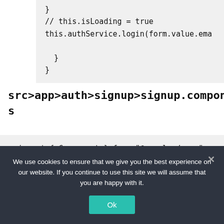[Figure (screenshot): Code block showing partial code: // this.isLoading = true, this.authService.login(form.value.ema, closing braces]
src>app>auth>signup>signup.component.ts
[Figure (screenshot): Code block showing import statements: import { Component } from "@angular/core", import { NgForm } from "@angular/forms"; import { AuthService } from "../auth.serv]
We use cookies to ensure that we give you the best experience on our website. If you continue to use this site we will assume that you are happy with it.